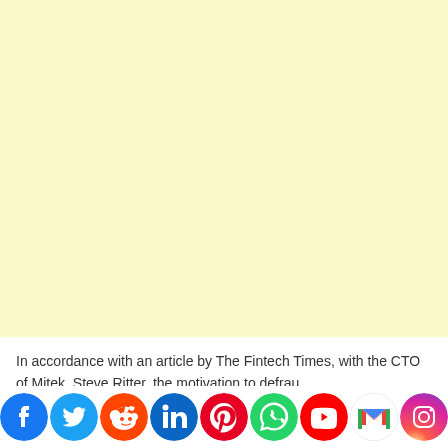[Figure (other): Large light yellow advertisement or placeholder area filling the upper portion of the page]
In accordance with an article by The Fintech Times, with the CTO of Mitek, Steve Ritter, the motivation to defraud is not dependent on regulation. As technology advances, so do the techniques employed by fraudsters to circumvent or impair our...
[Figure (other): Row of social media share buttons: Facebook (blue), Twitter (light blue), Reddit (orange-red), LinkedIn (blue), Pinterest (red), WhatsApp (green), YouTube (red), Gmail (multicolor), Instagram (purple-pink), Messenger (blue), Yahoo (dark purple). Plus a red scroll-to-top button.]